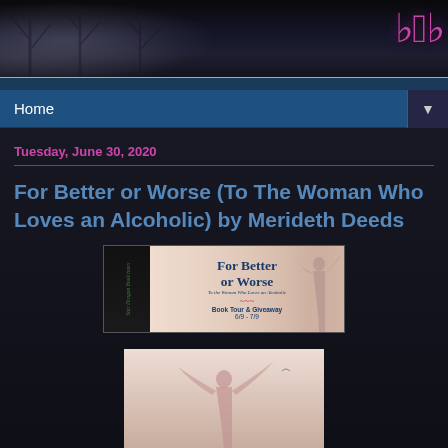[Figure (illustration): Blog header image with dark background showing clouds/sky and decorative logo text in pink/magenta on the right side]
Home ▼
Tuesday, June 30, 2020
For Better or Worse (To The Woman Who Loves an Alcoholic) by Merideth Deeds
[Figure (illustration): Book tour banner showing 'For Better or Worse - To the Woman Who Loves an Alcoholic - Book Tour & Giveaway 6/9 - 7/9' with a silhouette of a woman with arms raised against a warm background]
[Figure (photo): Partial photo of a woman silhouette with arms raised against a light pink/beige background]